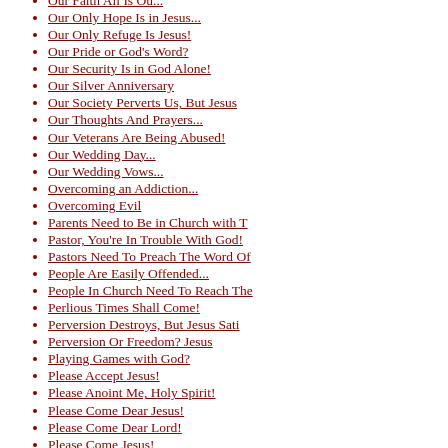Our Only Hope Is in Jesus...
Our Only Refuge Is Jesus!
Our Pride or God's Word?
Our Security Is in God Alone!
Our Silver Anniversary
Our Society Perverts Us, But Jesus
Our Thoughts And Prayers...
Our Veterans Are Being Abused!
Our Wedding Day...
Our Wedding Vows...
Overcoming an Addiction...
Overcoming Evil
Parents Need to Be in Church with T
Pastor, You're In Trouble With God!
Pastors Need To Preach The Word Of
People Are Easily Offended...
People In Church Need To Reach The
Perlious Times Shall Come!
Perversion Destroys, But Jesus Sati
Perversion Or Freedom? Jesus
Playing Games with God?
Please Accept Jesus!
Please Anoint Me, Holy Spirit!
Please Come Dear Jesus!
Please Come Dear Lord!
Please Come Jesus!
Please Come Lord Jesus, Hear Me
Please Don't Hold Unforgiveness!
Please Don't Refuse God!
Please Fill Me Holy Spirit!